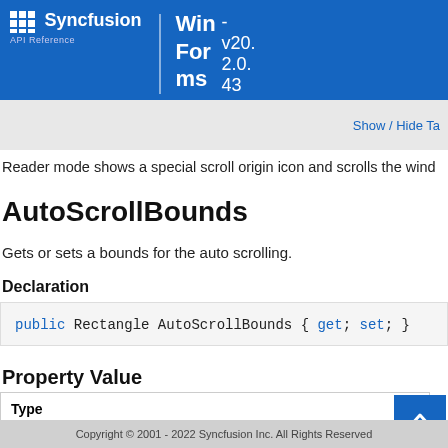Syncfusion API Reference - Win Forms v20.2.0.43
Reader mode shows a special scroll origin icon and scrolls the wind
AutoScrollBounds
Gets or sets a bounds for the auto scrolling.
Declaration
Property Value
| Type |
| --- |
Copyright © 2001 - 2022 Syncfusion Inc. All Rights Reserved